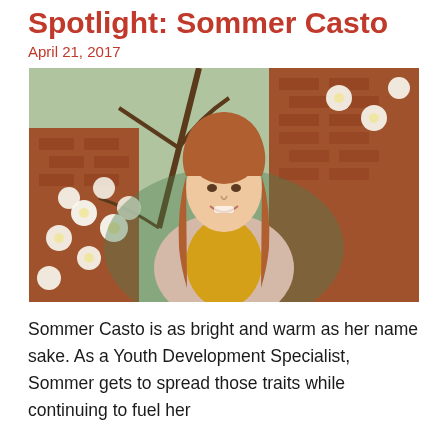Spotlight: Sommer Casto
April 21, 2017
[Figure (photo): Young woman with long reddish-brown hair smiling, wearing a yellow top and light pink cardigan, standing in front of a flowering dogwood tree and brick wall.]
Sommer Casto is as bright and warm as her name sake. As a Youth Development Specialist, Sommer gets to spread those traits while continuing to fuel her